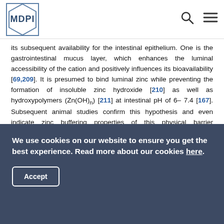MDPI
its subsequent availability for the intestinal epithelium. One is the gastrointestinal mucus layer, which enhances the luminal accessibility of the cation and positively influences its bioavailability [69,209]. It is presumed to bind luminal zinc while preventing the formation of insoluble zinc hydroxide [210] as well as hydroxypolymers (Zn(OH)n) [211] at intestinal pH of 6–7.4 [167]. Subsequent animal studies confirm this hypothesis and even indicate zinc buffering properties of this physical barrier [211,212,213]. In vitro, gastrointestinal mucins bind zinc with a physiologically relevant affinity, showing a dissociation constant of the mucin/zinc-complex in the same order of magnitude as luminal zinc [103]. Since the mucus layer is not
We use cookies on our website to ensure you get the best experience. Read more about our cookies here.
Accept